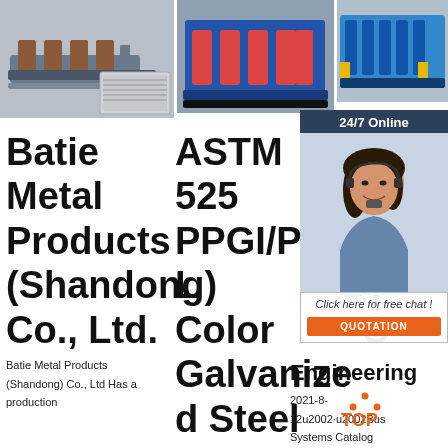[Figure (photo): Three industrial metal roll-forming machines shown side by side in image strip at top]
24/7 Online
[Figure (photo): Customer service woman with headset smiling]
Click here for free chat !
QUOTATION
Batie Metal Products (Shandong) Co., Ltd.
ASTM 525 PPGI/PPGL Color Galvanized Steel Coil A123
Sc Ele Bu Sy - S Engineering
Batie Metal Products (Shandong) Co., Ltd Has a production
2021-8-12u2002·u2002Bus Systems Catalog